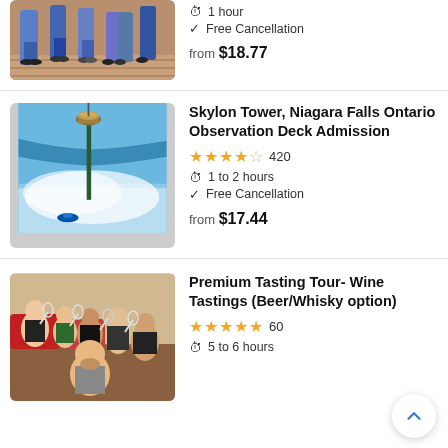[Figure (photo): Group of people standing on a brick walkway, partial view of legs]
1 hour
Free Cancellation
from $18.77
Skylon Tower, Niagara Falls Ontario Observation Deck Admission
4.5 stars 420 reviews
1 to 2 hours
Free Cancellation
from $17.44
[Figure (photo): Skylon Tower with Niagara Falls in the background]
Premium Tasting Tour- Wine Tastings (Beer/Whisky option)
5 stars 60 reviews
5 to 6 hours
[Figure (photo): Group of people toasting with wine glasses at a tasting event]